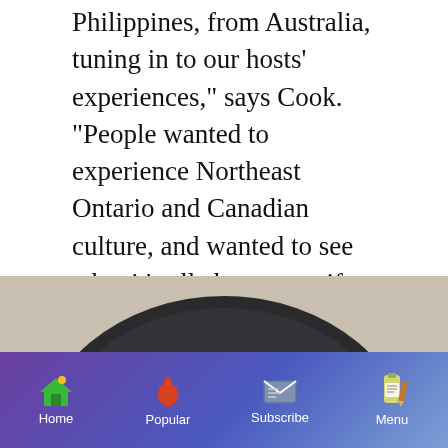Philippines, from Australia, tuning in to our hosts' experiences," says Cook. "People wanted to experience Northeast Ontario and Canadian culture, and wanted to see what it's all about even if they could not travel her themselves at that time."
[Figure (photo): Overhead photo of a dark plate with a piece of seared/seasoned fish fillet, roasted potato halves, small whole radishes, and roasted vegetables arranged on a stone or concrete background.]
Home | Popular | Subscribe | Menu